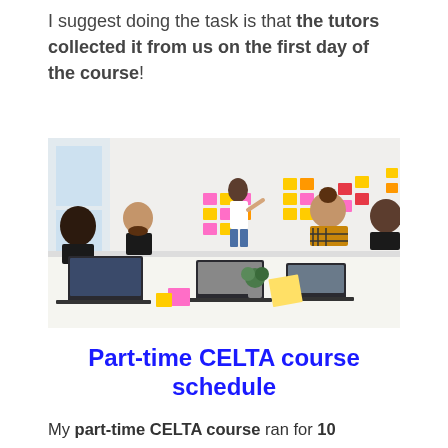I suggest doing the task is that the tutors collected it from us on the first day of the course!
[Figure (photo): Classroom scene with people seated around a table with laptops, one person standing and placing colorful sticky notes on a wall]
Part-time CELTA course schedule
My part-time CELTA course ran for 10